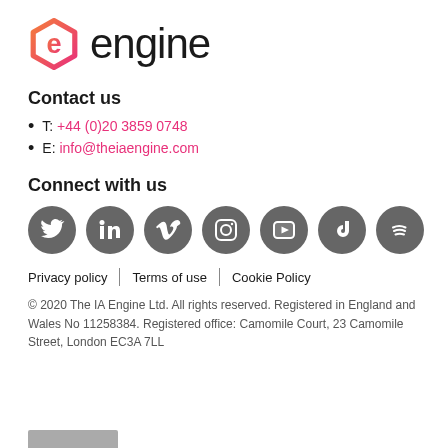[Figure (logo): Engine logo: hexagonal 'e' icon in orange-pink gradient with the word 'engine' in black sans-serif text]
Contact us
T: +44 (0)20 3859 0748
E: info@theiaengine.com
Connect with us
[Figure (infographic): Row of 7 circular grey social media icons: Twitter, LinkedIn, Vimeo, Instagram, YouTube, TikTok, Spotify]
Privacy policy | Terms of use | Cookie Policy
© 2020 The IA Engine Ltd. All rights reserved. Registered in England and Wales No 11258384. Registered office: Camomile Court, 23 Camomile Street, London EC3A 7LL